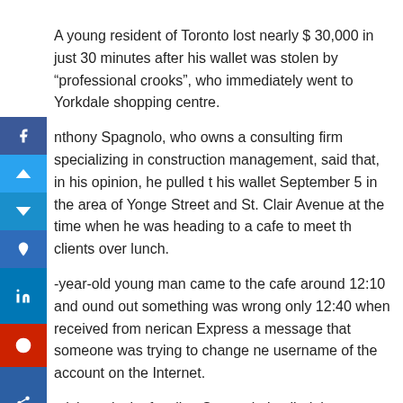A young resident of Toronto lost nearly $ 30,000 in just 30 minutes after his wallet was stolen by “professional crooks”, who immediately went to Yorkdale shopping centre.
Anthony Spagnolo, who owns a consulting firm specializing in construction management, said that, in his opinion, he pulled out his wallet September 5 in the area of Yonge Street and St. Clair Avenue at the time when he was heading to a cafe to meet with clients over lunch.
A -year-old young man came to the cafe around 12:10 and found out something was wrong only 12:40 when received from American Express a message that someone was trying to change the username of the account on the Internet.
Noticing a lack of wallet, Spagnolo I called the company who provided him with a credit card, and was shocked to find out that was already spent thousands of dollars.
“The thieves went straight to Yorkdale shopping centre and